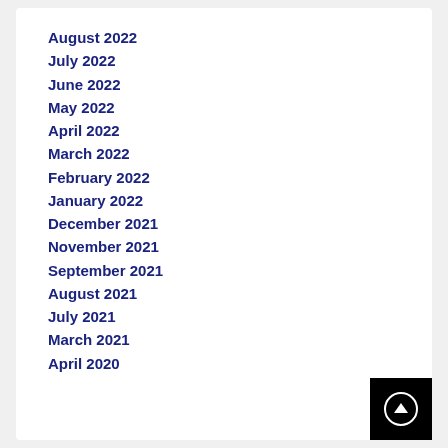August 2022
July 2022
June 2022
May 2022
April 2022
March 2022
February 2022
January 2022
December 2021
November 2021
September 2021
August 2021
July 2021
March 2021
April 2020